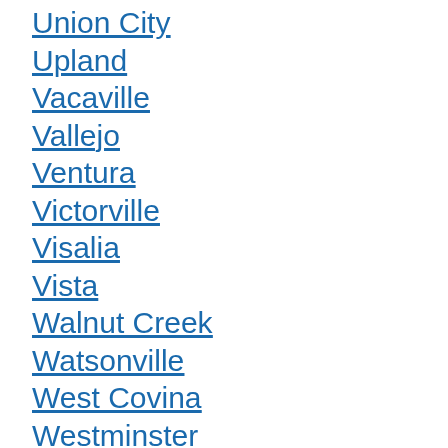Union City
Upland
Vacaville
Vallejo
Ventura
Victorville
Visalia
Vista
Walnut Creek
Watsonville
West Covina
Westminster
Whittier
Woodland
Yorba Linda